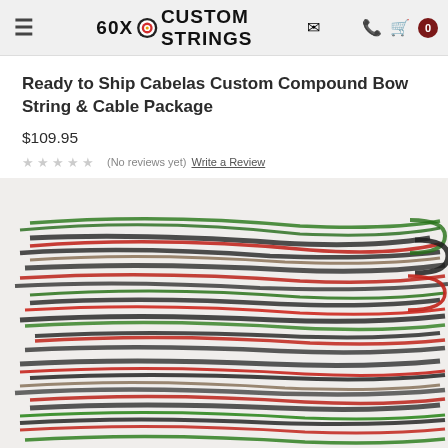60X CUSTOM STRINGS
Ready to Ship Cabelas Custom Compound Bow String & Cable Package
$109.95
(No reviews yet) Write a Review
SKU: RTS-CABELAS-SET
[Figure (photo): Close-up photo of compound bow strings and cables in black, red, and green colors piled together]